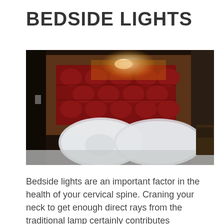BEDSIDE LIGHTS
[Figure (photo): A dark bedroom showing a bed with white pillows against a tufted red headboard, with a bright LED light glowing at the top of the headboard.]
Bedside lights are an important factor in the health of your cervical spine. Craning your neck to get enough direct rays from the traditional lamp certainly contributes